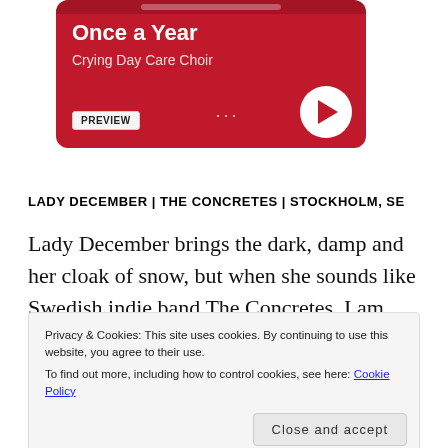[Figure (screenshot): Spotify-style music player card with red background showing 'Once a Year' by Crying Day Care Choir, with a PREVIEW button, three dots menu, and a white play button circle.]
LADY DECEMBER | THE CONCRETES | STOCKHOLM, SE
Lady December brings the dark, damp and her cloak of snow, but when she sounds like Swedish indie band The Concretes. I am willing to forgive and forget. It's not a
Privacy & Cookies: This site uses cookies. By continuing to use this website, you agree to their use.
To find out more, including how to control cookies, see here: Cookie Policy
Close and accept
[Figure (screenshot): Bottom portion of a red Spotify player widget showing the Spotify logo icon.]